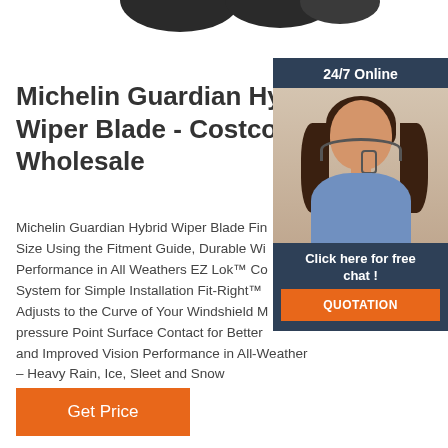[Figure (photo): Partial top view of wiper blade product images on white background]
Michelin Guardian Hybrid Wiper Blade - Costco Wholesale
Michelin Guardian Hybrid Wiper Blade Find the Right Size Using the Fitment Guide, Durable Wiping Performance in All Weathers EZ Lok™ Connector System for Simple Installation Fit-Right™ Bridge Adjusts to the Curve of Your Windshield Multiple pressure Point Surface Contact for Better Wiping and Improved Vision Performance in All-Weather – Heavy Rain, Ice, Sleet and Snow
[Figure (photo): Chat widget overlay showing a customer service representative with headset, '24/7 Online' header, 'Click here for free chat!' text, and orange QUOTATION button]
Get Price